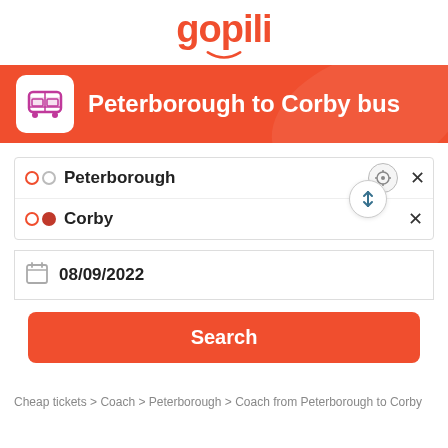gopili
Peterborough to Corby bus
Peterborough
Corby
08/09/2022
Search
Cheap tickets > Coach > Peterborough > Coach from Peterborough to Corby